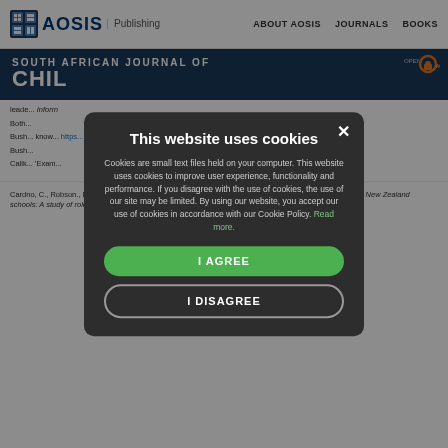AOSIS Publishing | ABOUT AOSIS | JOURNALS | BOOKS
SOUTH AFRICAN JOURNAL OF CHILD...
[Figure (screenshot): Cookie consent modal dialog overlaying an academic journal webpage. Modal has dark background with title 'This website uses cookies', descriptive text about cookie usage, 'I AGREE' green button, and 'I DISAGREE' outlined button. Background shows South African Journal of Child Education page with references.]
Cookies are small text files held on your computer. This website uses cookies to improve user experience, functionality and performance. If you disagree with the use of cookies, the use of our site may be limited. By using our website, you accept our use of cookies in accordance with our Cookie Policy. Read more.
Cardno, C., Robson., Deo, A., Bassett, M. & Howse, J., 2019, Middle-level leaders as directional leaders in New Zealand schools: A study of role expectations and performance confidence, pp. 32–47, UNITEC